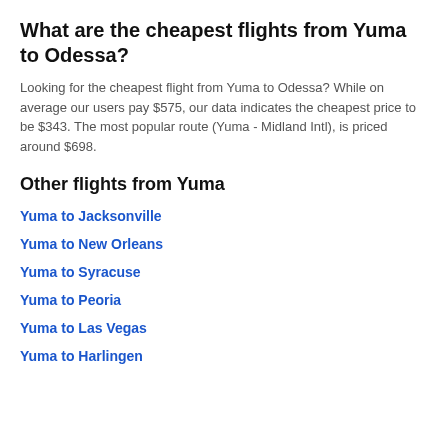What are the cheapest flights from Yuma to Odessa?
Looking for the cheapest flight from Yuma to Odessa? While on average our users pay $575, our data indicates the cheapest price to be $343. The most popular route (Yuma - Midland Intl), is priced around $698.
Other flights from Yuma
Yuma to Jacksonville
Yuma to New Orleans
Yuma to Syracuse
Yuma to Peoria
Yuma to Las Vegas
Yuma to Harlingen